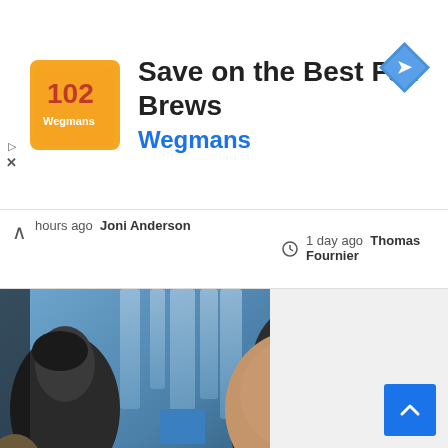[Figure (screenshot): Advertisement banner for Wegmans grocery store. Orange square logo on left with stylized text. Ad headline reads 'Save on the Best Fall Brews' with 'Wegmans' subtitle in blue. Blue diamond navigation arrow icon on the right.]
hours ago  Joni Anderson
1 day ago  Thomas Fournier
[Figure (photo): Photo of two people in conversation indoors, with a blue 'Top Story' badge overlay at bottom left. Shows an older man in a teal jacket and a woman with dark hair.]
Dr. Bob Lorinser Stops in Hancock to Speak with